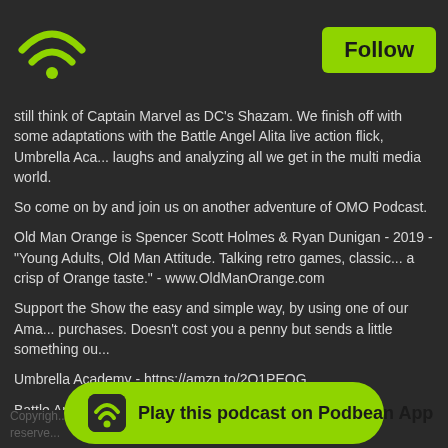Follow
still think of Captain Marvel as DC's Shazam. We finish off with some adaptations with the Battle Angel Alita live action flick, Umbrella Aca... laughs and analyzing all we get in the multi media world.
So come on by and join us on another adventure of OMO Podcast.
Old Man Orange is Spencer Scott Holmes & Ryan Dunigan - 2019 - "Young Adults, Old Man Attitude. Talking retro games, classic... a crisp of Orange taste." - www.OldManOrange.com
Support the Show the easy and simple way, by using one of our Ama... purchases. Doesn't cost you a penny but sends a little something ou...
Umbrella Academy - https://amzn.to/2O1PEOG
Battle Angel Alita - https://amzn.to/2XZ65Qo
Ms. Marvel - https://amzn.to/2UBoLnp
Grab some comics with...
Copyright... reserved...
[Figure (logo): Podbean wifi logo icon and Play this podcast on Podbean App button]